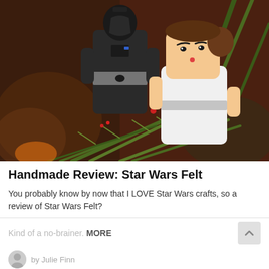[Figure (photo): Photo of two handmade Star Wars felt dolls — Darth Vader in black felt costume and Princess Leia in white felt dress — posed among pine branches with red berries in a warm, blurry bokeh background.]
Handmade Review: Star Wars Felt
You probably know by now that I LOVE Star Wars crafts, so a review of Star Wars Felt?
Kind of a no-brainer. MORE
by Julie Finn